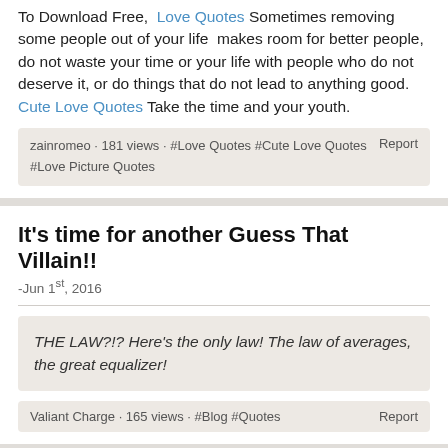To Download Free,  Love Quotes Sometimes removing some people out of your life  makes room for better people, do not waste your time or your life with people who do not deserve it, or do things that do not lead to anything good. Cute Love Quotes Take the time and your youth.
zainromeo · 181 views · #Love Quotes #Cute Love Quotes #Love Picture Quotes   Report
It's time for another Guess That Villain!!
-Jun 1st, 2016
THE LAW?!? Here's the only law! The law of averages, the great equalizer!
Valiant Charge · 165 views · #Blog #Quotes   Report